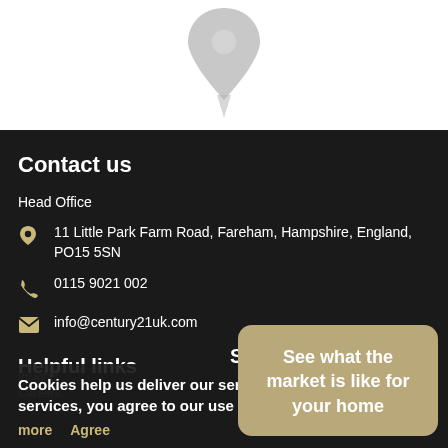[Figure (illustration): Map pin / location marker icon in grey, partially visible at top of page]
Contact us
Head Office
11 Little Park Farm Road, Fareham, Hampshire, England, PO15 5SN
0115 9021 002
info@century21uk.com
Helpful links
Stay c
Cookies help us deliver our services. By using our services, you agree to our use of cookies.
more
Agree
See what the market is like for your home
Careers